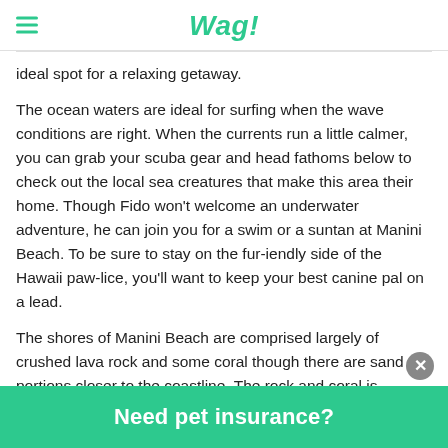Wag!
ideal spot for a relaxing getaway.
The ocean waters are ideal for surfing when the wave conditions are right. When the currents run a little calmer, you can grab your scuba gear and head fathoms below to check out the local sea creatures that make this area their home. Though Fido won't welcome an underwater adventure, he can join you for a swim or a suntan at Manini Beach. To be sure to stay on the fur-iendly side of the Hawaii paw-lice, you'll want to keep your best canine pal on a lead.
The shores of Manini Beach are comprised largely of crushed lava rock and some coral though there are sand portions closer to the coastline. The rock and coral is particularly sharp and can cut the tender tootsies of your favorite pooch. You'll want to stick to the sand portions of the beach to protect Fido's sensitive paw pads. Sea turtles like to sunbathe on the rocks and in the sand
Need pet insurance?